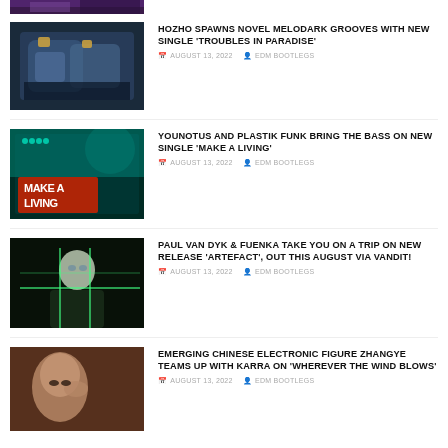[Figure (photo): Cropped top image, purple/dark tones, partial view]
[Figure (photo): Game map screenshot with blue/grey tones]
HOZHO SPAWNS NOVEL MELODARK GROOVES WITH NEW SINGLE 'TROUBLES IN PARADISE'
AUGUST 13, 2022   EDM BOOTLEGS
[Figure (photo): Make A Living album cover, cyan/red tones]
YOUNOTUS AND PLASTIK FUNK BRING THE BASS ON NEW SINGLE 'MAKE A LIVING'
AUGUST 13, 2022   EDM BOOTLEGS
[Figure (photo): Paul Van Dyk portrait, dark background with green neon lines]
PAUL VAN DYK & FUENKA TAKE YOU ON A TRIP ON NEW RELEASE 'ARTEFACT', OUT THIS AUGUST VIA VANDIT!
AUGUST 13, 2022   EDM BOOTLEGS
[Figure (photo): Asian woman portrait, warm tones]
EMERGING CHINESE ELECTRONIC FIGURE ZHANGYE TEAMS UP WITH KARRA ON 'WHEREVER THE WIND BLOWS'
AUGUST 13, 2022   EDM BOOTLEGS